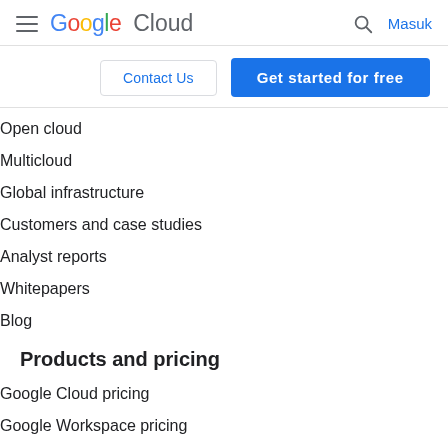Google Cloud — Masuk
Contact Us | Get started for free
Open cloud
Multicloud
Global infrastructure
Customers and case studies
Analyst reports
Whitepapers
Blog
Products and pricing
Google Cloud pricing
Google Workspace pricing